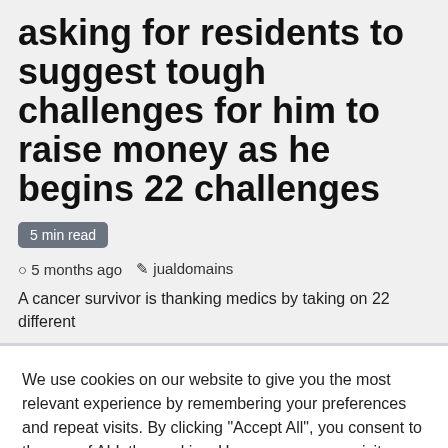asking for residents to suggest tough challenges for him to raise money as he begins 22 challenges
5 min read
5 months ago  jualdomains
A cancer survivor is thanking medics by taking on 22 different
We use cookies on our website to give you the most relevant experience by remembering your preferences and repeat visits. By clicking "Accept All", you consent to the use of ALL the cookies. However, you may visit "Cookie Settings" to provide a controlled consent.
Cookie Settings  Accept All